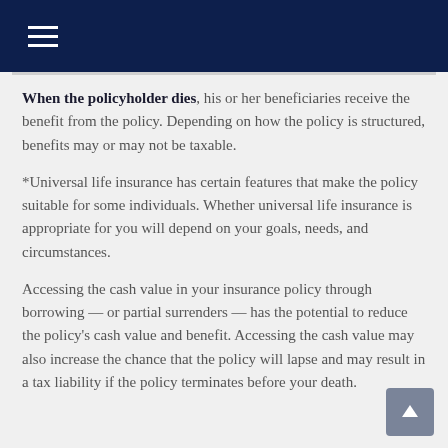Navigation menu icon
When the policyholder dies, his or her beneficiaries receive the benefit from the policy. Depending on how the policy is structured, benefits may or may not be taxable.
*Universal life insurance has certain features that make the policy suitable for some individuals. Whether universal life insurance is appropriate for you will depend on your goals, needs, and circumstances.
Accessing the cash value in your insurance policy through borrowing — or partial surrenders — has the potential to reduce the policy's cash value and benefit. Accessing the cash value may also increase the chance that the policy will lapse and may result in a tax liability if the policy terminates before your death.